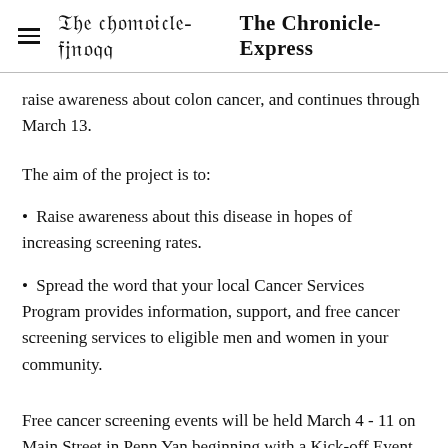The Chronicle-Express
raise awareness about colon cancer, and continues through March 13.
The aim of the project is to:
Raise awareness about this disease in hopes of increasing screening rates.
Spread the word that your local Cancer Services Program provides information, support, and free cancer screening services to eligible men and women in your community.
Free cancer screening events will be held March 4 - 11 on Main Street in Penn Yan beginning with a Kick-off Event at Community Bank from 1 to 4